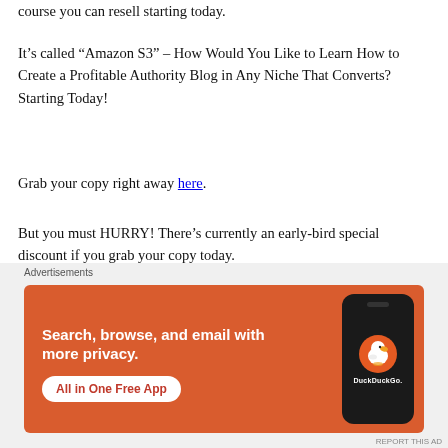course you can resell starting today.
It’s called “Amazon S3” – How Would You Like to Learn How to Create a Profitable Authority Blog in Any Niche That Converts? Starting Today!
Grab your copy right away here.
But you must HURRY! There’s currently an early-bird special discount if you grab your copy today.
Here are the topics inside this PLR video course
[Figure (screenshot): DuckDuckGo advertisement banner with orange background showing 'Search, browse, and email with more privacy. All in One Free App' text with a phone mockup showing the DuckDuckGo logo]